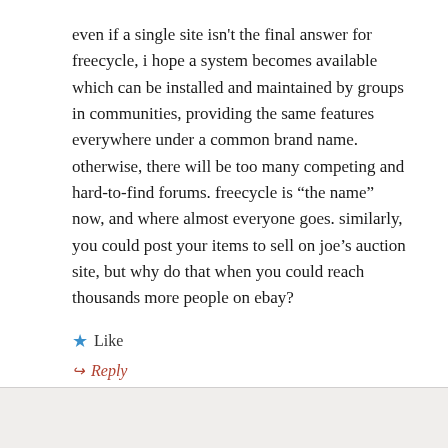even if a single site isn't the final answer for freecycle, i hope a system becomes available which can be installed and maintained by groups in communities, providing the same features everywhere under a common brand name. otherwise, there will be too many competing and hard-to-find forums. freecycle is “the name” now, and where almost everyone goes. similarly, you could post your items to sell on joe’s auction site, but why do that when you could reach thousands more people on ebay?
★ Like
↪ Reply